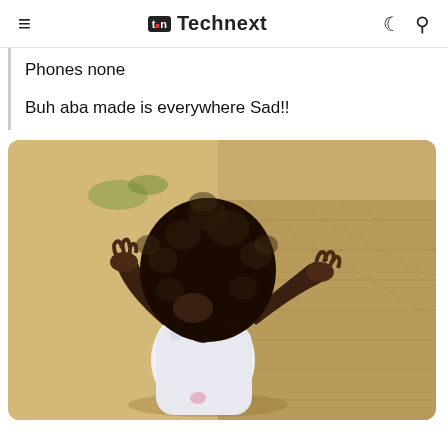≡  tn Technext  ☾ 🔍
Phones none
Buh aba made is everywhere Sad!!
[Figure (photo): A young child with an afro hairstyle, viewed from behind/side, standing outdoors on a paved brick area. The child is wearing a white dress/top and has both arms raised. The photo appears to be taken outdoors in daylight.]